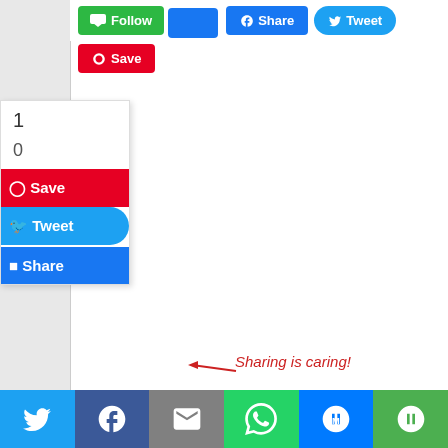[Figure (screenshot): Social media sharing buttons interface: Follow (green), Facebook Share (blue), Tweet (Twitter blue), Pinterest Save (red) buttons at top. A popup box on the left shows counts (1, 0) and Save, Tweet, Share buttons. Main content area is white/blank. 'Sharing is caring!' text in red cursive at bottom of content area. Bottom bar has social sharing icons: Twitter, Facebook, Email, WhatsApp, SMS, More.]